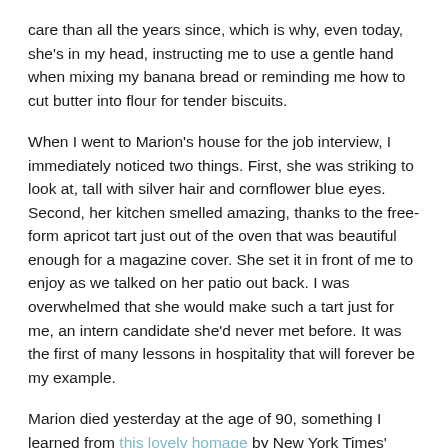care than all the years since, which is why, even today, she's in my head, instructing me to use a gentle hand when mixing my banana bread or reminding me how to cut butter into flour for tender biscuits.
When I went to Marion's house for the job interview, I immediately noticed two things. First, she was striking to look at, tall with silver hair and cornflower blue eyes. Second, her kitchen smelled amazing, thanks to the free-form apricot tart just out of the oven that was beautiful enough for a magazine cover. She set it in front of me to enjoy as we talked on her patio out back. I was overwhelmed that she would make such a tart just for me, an intern candidate she'd never met before. It was the first of many lessons in hospitality that will forever be my example.
Marion died yesterday at the age of 90, something I learned from this lovely homage by New York Times' writer Kim Severson. Upon reading it, I felt compelled to